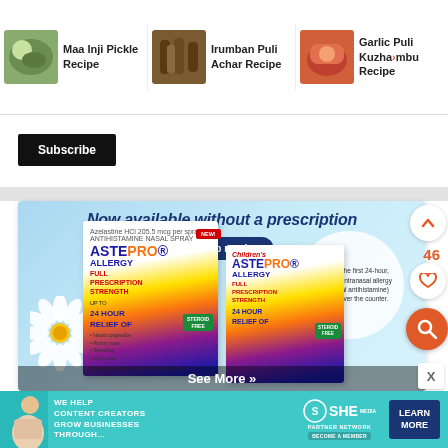[Figure (photo): Recipe navigation strip with three recipe thumbnails: Maa Inji Pickle Recipe, Irumban Puli Achar Recipe, Garlic Puli Kuzhambu Recipe]
Maa Inji Pickle Recipe
Irumban Puli Achar Recipe
Garlic Puli Kuzhambu Recipe
Subscribe
[Figure (photo): Astepro Allergy advertisement banner. Text reads: Now available without a prescription. Shop now! Shows Astepro Allergy and Children's Astepro Allergy product boxes with a white daisy flower. Info circle: Astepro is the first 24-hour, steroid-free intranasal allergy spray (nasal antihistamine) to shift to over the counter. See More »]
See More »
[Figure (photo): SHE Partner Network banner advertisement: We Help Content Creators Grow Businesses Through... Learn More. Become a Member.]